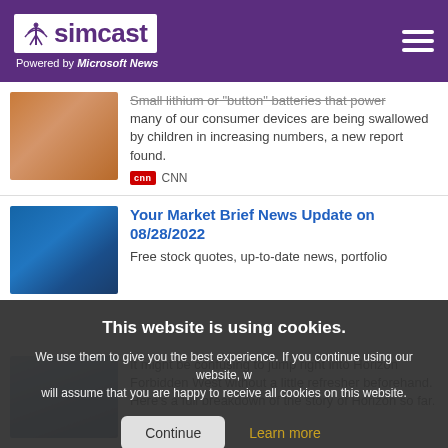simcast — Powered by Microsoft News
Small lithium or "button" batteries that power many of our consumer devices are being swallowed by children in increasing numbers, a new report found. CNN
Your Market Brief News Update on 08/28/2022
Free stock quotes, up-to-date news, portfolio
This website is using cookies. We use them to give you the best experience. If you continue using our website, we will assume that you are happy to receive all cookies on this website.
Continue | Learn more
It might be confusing to jump right into Horizon Forbidden West without a little refresher beforehand. Here's a full breakdown of the story of Horizon so far.